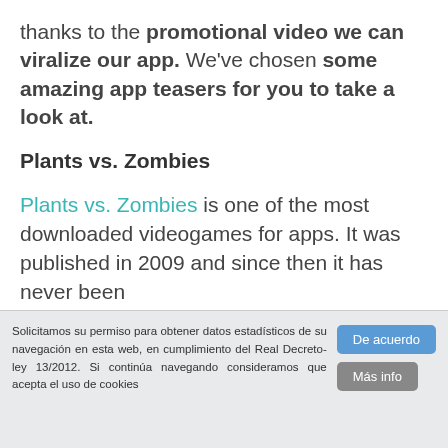thanks to the promotional video we can viralize our app. We've chosen some amazing app teasers for you to take a look at.
Plants vs. Zombies
Plants vs. Zombies is one of the most downloaded videogames for apps. It was published in 2009 and since then it has never been
Solicitamos su permiso para obtener datos estadísticos de su navegación en esta web, en cumplimiento del Real Decreto-ley 13/2012. Si continúa navegando consideramos que acepta el uso de cookies